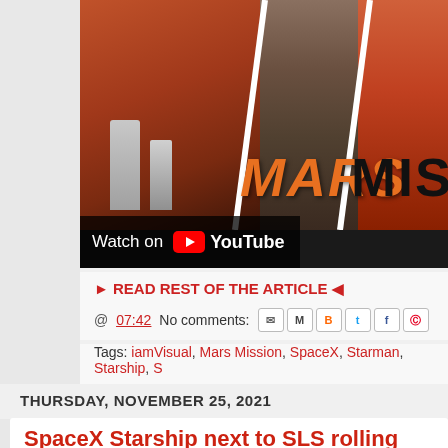[Figure (screenshot): YouTube video thumbnail showing Mars Mission imagery — left panel shows rockets on Mars red landscape, center shows rocket launch smoke cloud, right panel shows orange/red sky. Title overlay reads MARS MIS. Watch on YouTube bar at bottom.]
► READ REST OF THE ARTICLE ◄
@ 07:42   No comments:
Tags: iamVisual, Mars Mission, SpaceX, Starman, Starship, S...
THURSDAY, NOVEMBER 25, 2021
SpaceX Starship next to SLS rolling out of